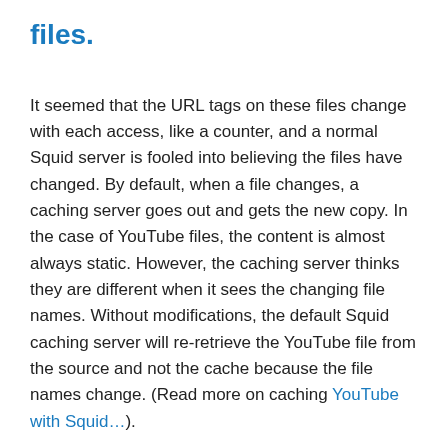files.
It seemed that the URL tags on these files change with each access, like a counter, and a normal Squid server is fooled into believing the files have changed. By default, when a file changes, a caching server goes out and gets the new copy. In the case of YouTube files, the content is almost always static. However, the caching server thinks they are different when it sees the changing file names. Without modifications, the default Squid caching server will re-retrieve the YouTube file from the source and not the cache because the file names change. (Read more on caching YouTube with Squid…).
2. We had to move to a newer Linux
based to support a newer version of Squid...